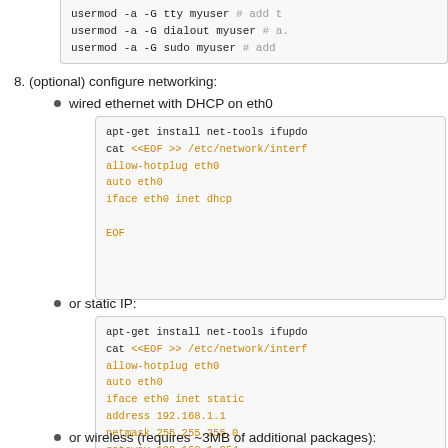usermod -a -G tty myuser # add t
usermod -a -G dialout myuser # a.
usermod -a -G sudo myuser # add
8. (optional) configure networking:
wired ethernet with DHCP on eth0
apt-get install net-tools ifupdo
cat <<EOF >> /etc/network/interf
allow-hotplug eth0
auto eth0
iface eth0 inet dhcp

EOF
or static IP:
apt-get install net-tools ifupdo
cat <<EOF >> /etc/network/interf
allow-hotplug eth0
auto eth0
iface eth0 inet static
address 192.168.1.1
netmask 255.255.255.0
gateway 192.168.1.254

EOF
or wireless (requires ~3MB of additional packages):